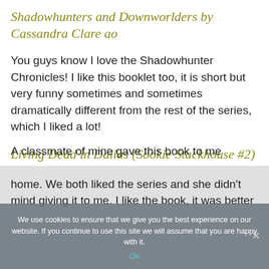Shadowhunters and Downworlders by Cassandra Clare ao
You guys know I love the Shadowhunter Chronicles! I like this booklet too, it is short but very funny sometimes and sometimes dramatically different from the rest of the series, which I liked a lot!
Living Dead in Dallas (Sookie Stackhouse #2) by Charlaine Harris
A classmate of mine gave this book to me
We use cookies to ensure that we give you the best experience on our website. If you continue to use this site we will assume that you are happy with it.
Ok
home. We both liked the series and she didn't mind giving it to me. I like the book, it was better